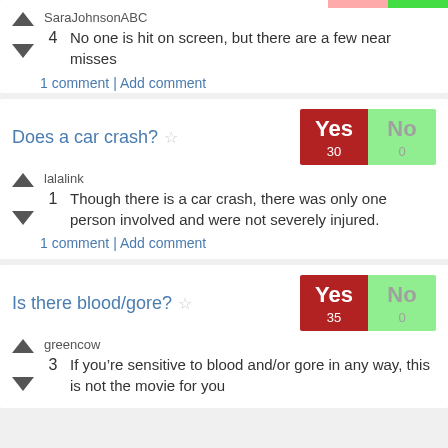SaraJohnsonABC
4  No one is hit on screen, but there are a few near misses
1 comment | Add comment
Does a car crash?
Yes 30 / No 0
lalalink
1  Though there is a car crash, there was only one person involved and were not severely injured.
1 comment | Add comment
Is there blood/gore?
Yes 35 / No 0
greencow
3  If you're sensitive to blood and/or gore in any way, this is not the movie for you